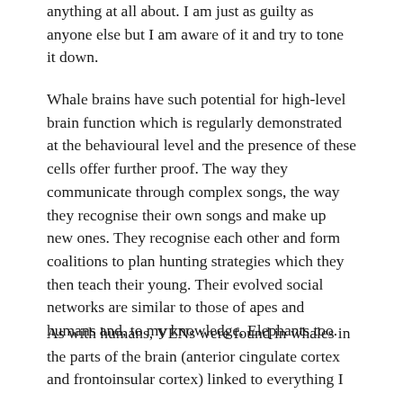anything at all about. I am just as guilty as anyone else but I am aware of it and try to tone it down.
Whale brains have such potential for high-level brain function which is regularly demonstrated at the behavioural level and the presence of these cells offer further proof. The way they communicate through complex songs, the way they recognise their own songs and make up new ones. They recognise each other and form coalitions to plan hunting strategies which they then teach their young. Their evolved social networks are similar to those of apes and humans and, to my knowledge, Elephants too.
As with humans, VENs were found in whales in the parts of the brain (anterior cingulate cortex and frontoinsular cortex) linked to everything I